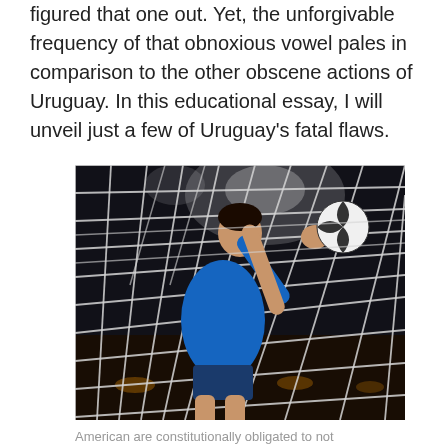figured that one out. Yet, the unforgivable frequency of that obnoxious vowel pales in comparison to the other obscene actions of Uruguay. In this educational essay, I will unveil just a few of Uruguay's fatal flaws.
[Figure (photo): A soccer player in a blue Uruguay jersey jumping at a goal net, reaching up to touch/block a soccer ball, photographed from behind the net with stadium lights in the background at night.]
American are constitutionally obligated to not